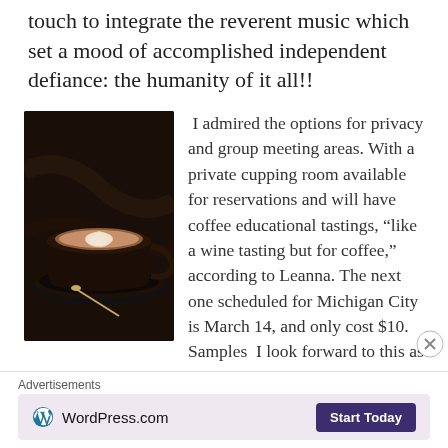touch to integrate the reverent music which set a mood of accomplished independent defiance: the humanity of it all!!
[Figure (photo): A dark coffee cup with latte art (white foam pattern) on a dark saucer with a small spoon, set on a dark marble surface.]
I admired the options for privacy and group meeting areas. With a private cupping room available for reservations and will have coffee educational tastings, “like a wine tasting but for coffee,” according to Leanna. The next one scheduled for Michigan City is March 14, and only cost $10. Samples I look forward to this as I am coffee terminologically
Advertisements
[Figure (logo): WordPress.com advertisement banner with WordPress logo on the left and a 'Start Today' button on the right, on a light pink/lavender background.]